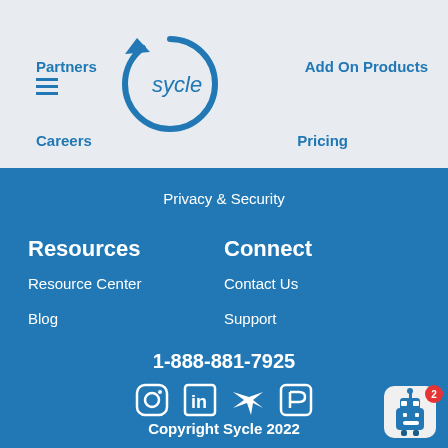Partners | Add On Products | Careers | Pricing
[Figure (logo): Sycle logo - circular arrow with 'sycle' text in blue]
Privacy & Security
Resources
Connect
Resource Center
Contact Us
Blog
Support
1-888-881-7925
[Figure (illustration): Social media icons: Instagram, LinkedIn, Twitter, Facebook]
Copyright Sycle 2022
[Figure (illustration): Chatbot widget with robot icon and notification badge showing 2]